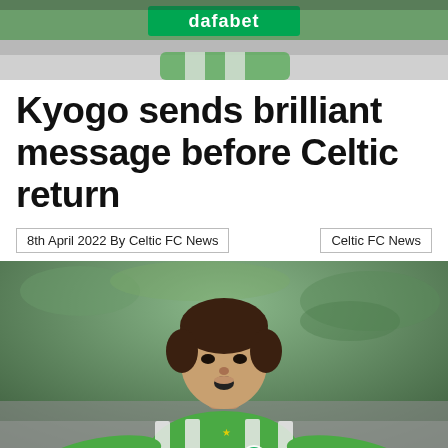[Figure (photo): Top cropped photo of a Celtic FC player in green and white hooped jersey with Dafabet sponsor logo visible on the shirt, crowd blurred in background]
Kyogo sends brilliant message before Celtic return
8th April 2022 By Celtic FC News   Celtic FC News
[Figure (photo): Photo of Kyogo Furuhashi celebrating in Celtic FC green and white hooped jersey with adidas branding and Celtic badge, arms outstretched, mouth open, crowd blurred behind]